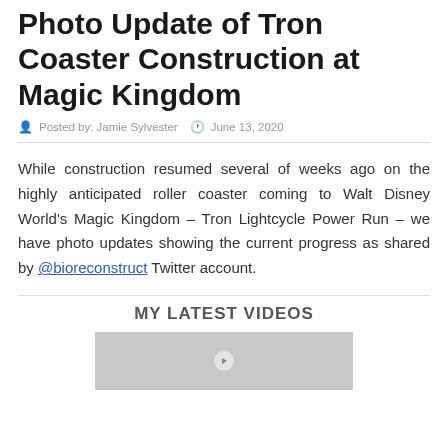Photo Update of Tron Coaster Construction at Magic Kingdom
Posted by: Jamie Sylvester   June 13, 2020
While construction resumed several of weeks ago on the highly anticipated roller coaster coming to Walt Disney World's Magic Kingdom – Tron Lightcycle Power Run – we have photo updates showing the current progress as shared by @bioreconstruct Twitter account.
MY LATEST VIDEOS
[Figure (screenshot): Video thumbnail placeholder — gray rectangle with centered play indicator]